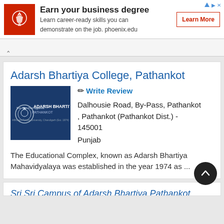[Figure (infographic): University of Phoenix ad banner with red logo, bold title 'Earn your business degree', subtitle text, and Learn More button]
Adarsh Bhartiya College, Pathankot
✏ Write Review
[Figure (logo): Adarsh Bhartiya College Pathankot dark blue logo with emblem]
Dalhousie Road, By-Pass, Pathankot , Pathankot (Pathankot Dist.) - 145001
Punjab
The Educational Complex, known as Adarsh Bhartiya Mahavidyalaya was established in the year 1974 as ...
Sri Sri Campus of Adarsh Bhartiya Pathankot...